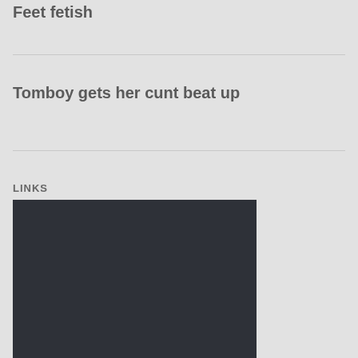Feet fetish
Tomboy gets her cunt beat up
LINKS
[Figure (other): Dark rectangle/box, appears to be a video thumbnail or placeholder image with dark charcoal background color]